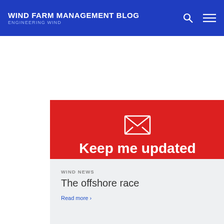WIND FARM MANAGEMENT BLOG
ENGINEERING WIND
[Figure (infographic): Red newsletter subscription banner with envelope icon, heading 'Keep me updated', and blue Subscribe button]
WIND NEWS
The offshore race
Read more ›